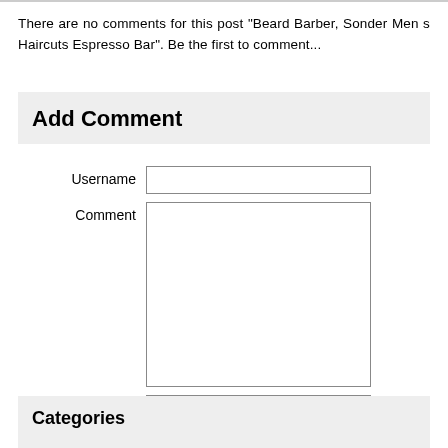There are no comments for this post "Beard Barber, Sonder Men s Haircuts Espresso Bar". Be the first to comment...
Add Comment
Username
Comment
Submit
Categories